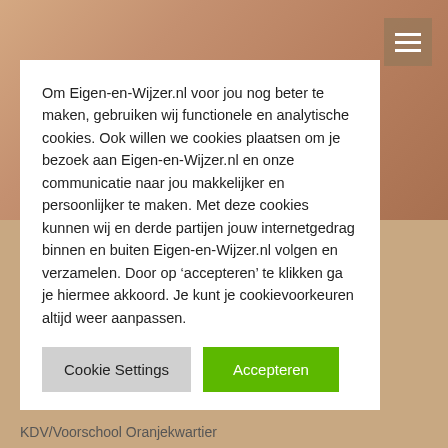[Figure (screenshot): Hero background image showing skin tones in warm beige/brown colors with a hamburger menu button in the top right corner]
Om Eigen-en-Wijzer.nl voor jou nog beter te maken, gebruiken wij functionele en analytische cookies. Ook willen we cookies plaatsen om je bezoek aan Eigen-en-Wijzer.nl en onze communicatie naar jou makkelijker en persoonlijker te maken. Met deze cookies kunnen wij en derde partijen jouw internetgedrag binnen en buiten Eigen-en-Wijzer.nl volgen en verzamelen. Door op ‘accepteren’ te klikken ga je hiermee akkoord. Je kunt je cookievoorkeuren altijd weer aanpassen.
Cookie Settings
Accepteren
KDV/Voorschool Oranjekwartier